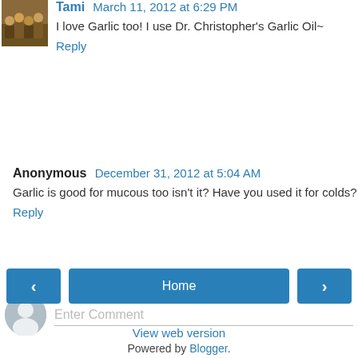Tami  March 11, 2012 at 6:29 PM
I love Garlic too! I use Dr. Christopher's Garlic Oil~
Reply
Anonymous  December 31, 2012 at 5:04 AM
Garlic is good for mucous too isn't it? Have you used it for colds?
Reply
Enter Comment
Home
View web version
Powered by Blogger.